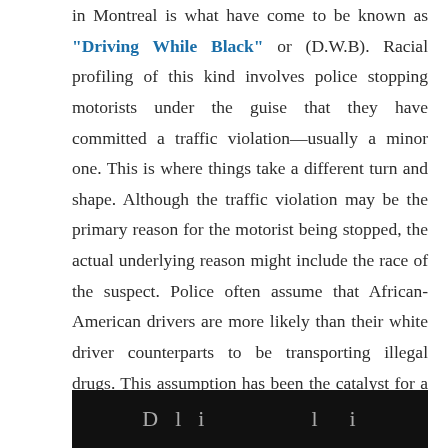in Montreal is what have come to be known as “Driving While Black” or (D.W.B). Racial profiling of this kind involves police stopping motorists under the guise that they have committed a traffic violation—usually a minor one. This is where things take a different turn and shape. Although the traffic violation may be the primary reason for the motorist being stopped, the actual underlying reason might include the race of the suspect. Police often assume that African-American drivers are more likely than their white driver counterparts to be transporting illegal drugs. This assumption has been the catalyst for a large number of roadside stops.
[Figure (other): Dark banner strip at bottom of page with partial text visible]